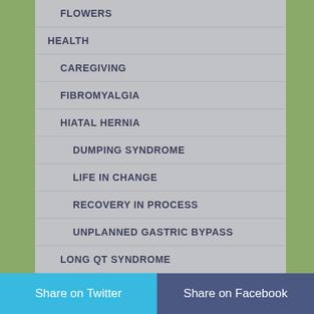FLOWERS
HEALTH
CAREGIVING
FIBROMYALGIA
HIATAL HERNIA
DUMPING SYNDROME
LIFE IN CHANGE
RECOVERY IN PROCESS
UNPLANNED GASTRIC BYPASS
LONG QT SYNDROME
LYMPHEDEMA
NUTRITION
Share on Twitter | Share on Facebook